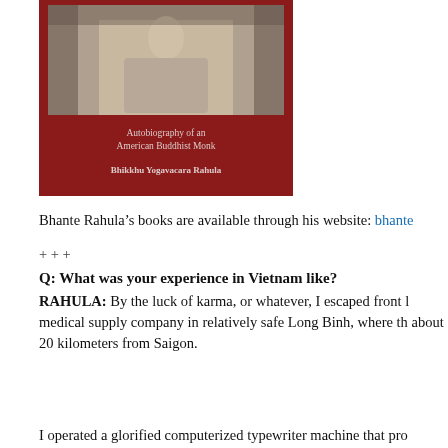[Figure (photo): Book cover of 'Autobiography of an American Buddhist Monk' by Bhikkhu Yogavacara Rahula, with a red background and a black-and-white photo of a person sitting cross-legged, with text showing subtitle and author name.]
Bhante Rahula’s books are available through his website: bhante[truncated]
+ + +
Q: What was your experience in Vietnam like?
RAHULA: By the luck of karma, or whatever, I escaped front l[truncated] medical supply company in relatively safe Long Binh, where th[truncated] about 20 kilometers from Saigon.
I operated a glorified computerized typewriter machine that pro[truncated]